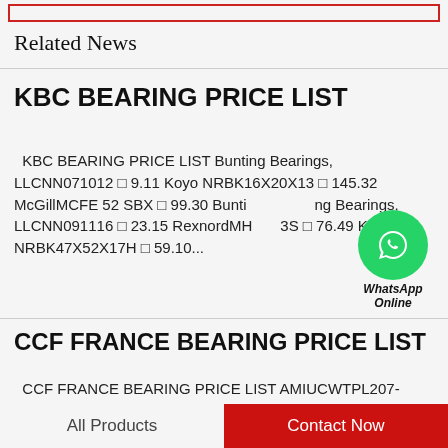Related News
KBC BEARING PRICE LIST
KBC BEARING PRICE LIST Bunting Bearings, LLCNN071012 □ 9.11 Koyo NRBK16X20X13 □ 145.32 McGillMCFE 52 SBX □ 99.30 Bunting Bearings, LLCNN091116 □ 23.15 RexnordMH □ 3S □ 76.49 Koyo NRBK47X52X17H □ 59.10...
[Figure (illustration): WhatsApp Online green circle logo with label]
CCF FRANCE BEARING PRICE LIST
CCF FRANCE BEARING PRICE LIST AMIUCWTPL207-20MZ2CEW $169.22 Garlock29619-4203 $29.25 Timken2MM9119WI DUL
All Products    Contact Now